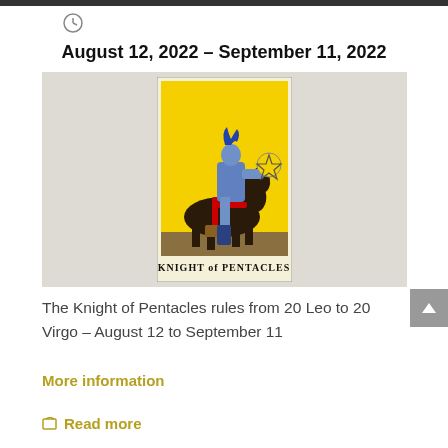August 12, 2022 – September 11, 2022
[Figure (illustration): Tarot card: Knight of Pentacles. A knight in armor rides a dark horse, holding a pentacle coin. Yellow background. Card label reads KNIGHT of PENTACLES at the bottom.]
The Knight of Pentacles rules from 20 Leo to 20 Virgo – August 12 to September 11
More information
Read more